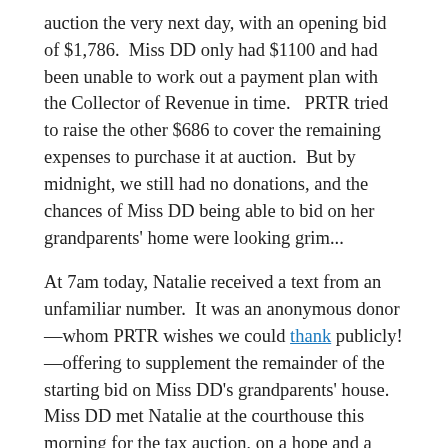auction the very next day, with an opening bid of $1,786.  Miss DD only had $1100 and had been unable to work out a payment plan with the Collector of Revenue in time.   PRTR tried to raise the other $686 to cover the remaining expenses to purchase it at auction.  But by midnight, we still had no donations, and the chances of Miss DD being able to bid on her grandparents' home were looking grim...
At 7am today, Natalie received a text from an unfamiliar number.  It was an anonymous donor—whom PRTR wishes we could thank publicly!—offering to supplement the remainder of the starting bid on Miss DD's grandparents' house.  Miss DD met Natalie at the courthouse this morning for the tax auction, on a hope and a prayer that no one else would bid on the property.  They anxiously awaited the parcel number to be called... Placed the bid...  "Going once, going twice, SOLD."  Miraculously, Miss DD got it for minimum bid with no competition, paid for it, and received her Sheriff's sale receipt. Thanks to the kindness of...